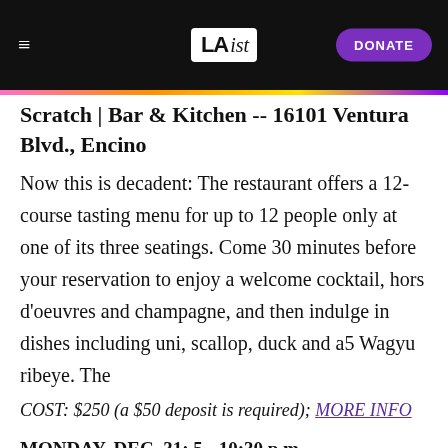LAist | DONATE
Scratch | Bar & Kitchen -- 16101 Ventura Blvd., Encino
Now this is decadent: The restaurant offers a 12-course tasting menu for up to 12 people only at one of its three seatings. Come 30 minutes before your reservation to enjoy a welcome cocktail, hors d'oeuvres and champagne, and then indulge in dishes including uni, scallop, duck and a5 Wagyu ribeye. The
COST: $250 (a $50 deposit is required); MORE INFO
MONDAY, DEC. 31; 5 - 10:30 p.m.